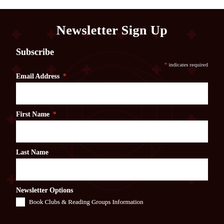Newsletter Sign Up
Subscribe
* indicates required
Email Address *
First Name *
Last Name
Newsletter Options
Book Clubs & Reading Groups Information